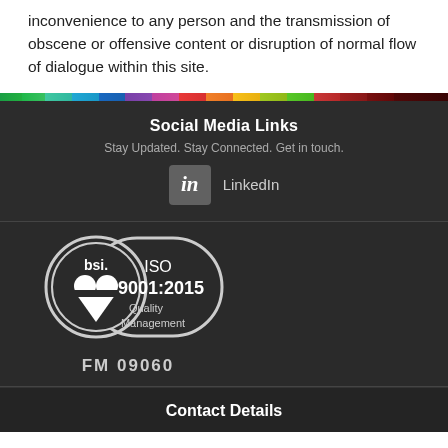inconvenience to any person and the transmission of obscene or offensive content or disruption of normal flow of dialogue within this site.
Social Media Links
Stay Updated. Stay Connected. Get in touch.
[Figure (logo): LinkedIn logo icon with 'in' on grey square background, followed by text 'LinkedIn']
[Figure (logo): BSI ISO 9001:2015 Quality Management certification badge with FM 09060 number]
Contact Details